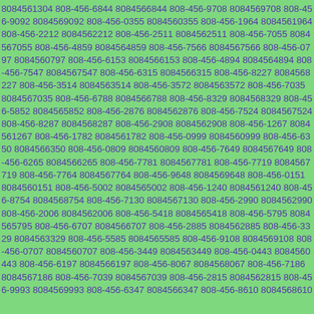8084561304 808-456-6844 8084566844 808-456-9708 8084569708 808-456-9092 8084569092 808-456-0355 8084560355 808-456-1964 8084561964 808-456-2212 8084562212 808-456-2511 8084562511 808-456-7055 8084567055 808-456-4859 8084564859 808-456-7566 8084567566 808-456-0797 8084560797 808-456-6153 8084566153 808-456-4894 8084564894 808-456-7547 8084567547 808-456-6315 8084566315 808-456-8227 8084568227 808-456-3514 8084563514 808-456-3572 8084563572 808-456-7035 8084567035 808-456-6788 8084566788 808-456-8329 8084568329 808-456-5852 8084565852 808-456-2876 8084562876 808-456-7524 8084567524 808-456-8287 8084568287 808-456-2908 8084562908 808-456-1267 8084561267 808-456-1782 8084561782 808-456-0999 8084560999 808-456-6350 8084566350 808-456-0809 8084560809 808-456-7649 8084567649 808-456-6265 8084566265 808-456-7781 8084567781 808-456-7719 8084567719 808-456-7764 8084567764 808-456-9648 8084569648 808-456-0151 8084560151 808-456-5002 8084565002 808-456-1240 8084561240 808-456-8754 8084568754 808-456-7130 8084567130 808-456-2990 8084562990 808-456-2006 8084562006 808-456-5418 8084565418 808-456-5795 8084565795 808-456-6707 8084566707 808-456-2885 8084562885 808-456-3329 8084563329 808-456-5585 8084565585 808-456-9108 8084569108 808-456-0707 8084560707 808-456-3449 8084563449 808-456-0443 8084560443 808-456-6197 8084566197 808-456-8067 8084568067 808-456-7186 8084567186 808-456-7039 8084567039 808-456-2815 8084562815 808-456-9993 8084569993 808-456-6347 8084566347 808-456-8610 8084568610